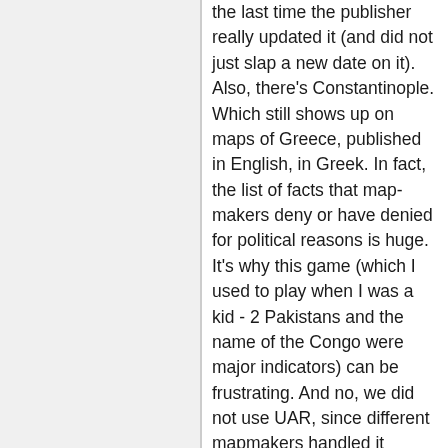the last time the publisher really updated it (and did not just slap a new date on it). Also, there's Constantinople. Which still shows up on maps of Greece, published in English, in Greek. In fact, the list of facts that map-makers deny or have denied for political reasons is huge. It's why this game (which I used to play when I was a kid - 2 Pakistans and the name of the Congo were major indicators) can be frustrating. And no, we did not use UAR, since different mapmakers handled it differently. Hey, I found this one with Smyrna: https://www.greektravel.com/maps/greece.html 🔒 Can someone find one with Constantinople? Oh, oh, and I used to be a cartographer. It